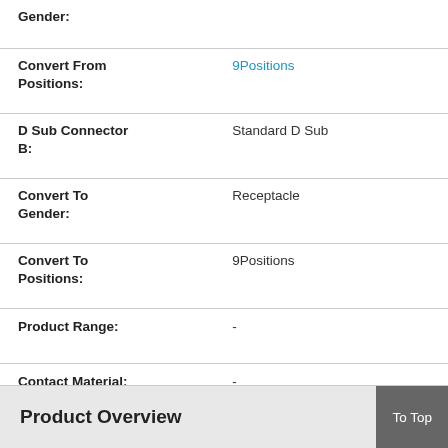| Property | Value |
| --- | --- |
| Gender: |  |
| Convert From Positions: | 9Positions |
| D Sub Connector B: | Standard D Sub |
| Convert To Gender: | Receptacle |
| Convert To Positions: | 9Positions |
| Product Range: | - |
| Contact Material: | - |
| Contact Plating: | - |
Product Overview
To Top